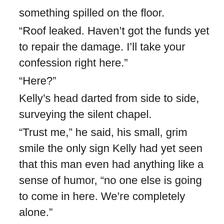something spilled on the floor.
“Roof leaked. Haven’t got the funds yet to repair the damage. I’ll take your confession right here.”
“Here?”
Kelly’s head darted from side to side, surveying the silent chapel.
“Trust me,” he said, his small, grim smile the only sign Kelly had yet seen that this man even had anything like a sense of humor, “no one else is going to come in here. We’re completely alone.”
Kelly shivered. That wasn’t as reassuring as he might have meant it to be.
“OK. But I don’t think I can do it with you looking at me like that.”
He gave a small, vaguely affirmative grunt, then took a seat in the pew immediately behind hers. Kelly heard the